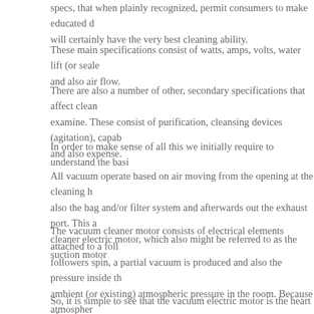specs, that when plainly recognized, permit consumers to make educated d... will certainly have the very best cleaning ability.
These main specifications consist of watts, amps, volts, water lift (or seale... and also air flow.
There are also a number of other, secondary specifications that affect clean... examine. These consist of purification, cleansing devices (agitation), capab... and also expense.
In order to make sense of all this we initially require to understand the basi...
All vacuum operate based on air moving from the opening at the cleaning h... also the bag and/or filter system and afterwards out the exhaust port. This a... cleaner electric motor, which also might be referred to as the suction motor...
The vacuum cleaner motor consists of electrical elements attached to a foll... followers spin, a partial vacuum is produced and also the pressure inside th... ambient (or existing) atmospheric pressure in the room. Because atmospher... hoover than within, air hurries with the vacuum.
So, it is simple to see that the vacuum electric motor is the heart of a vacu...